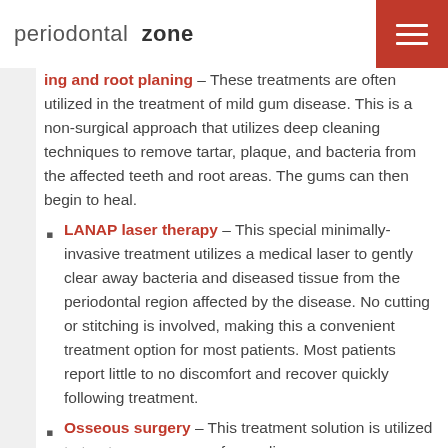periodontal zone
ing and root planing – These treatments are often utilized in the treatment of mild gum disease. This is a non-surgical approach that utilizes deep cleaning techniques to remove tartar, plaque, and bacteria from the affected teeth and root areas. The gums can then begin to heal.
LANAP laser therapy – This special minimally-invasive treatment utilizes a medical laser to gently clear away bacteria and diseased tissue from the periodontal region affected by the disease. No cutting or stitching is involved, making this a convenient treatment option for most patients. Most patients report little to no discomfort and recover quickly following treatment.
Osseous surgery – This treatment solution is utilized to treat severe cases of gum disease